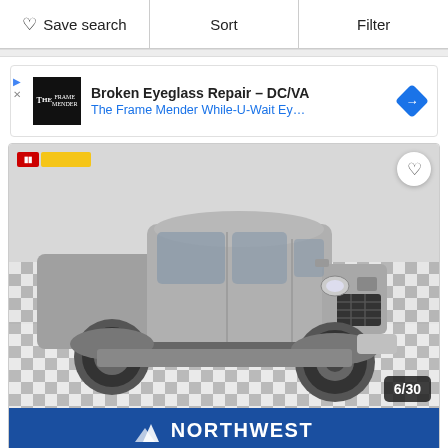Save search  Sort  Filter
[Figure (screenshot): Advertisement banner for Broken Eyeglass Repair DC/VA - The Frame Mender While-U-Wait Eyeglass Repair, showing logo and navigation diamond icon]
[Figure (photo): Silver Ram 2500 pickup truck lifted on checkered floor in dealership, Northwest Motors branding banner at bottom, photo counter showing 6/30]
Used